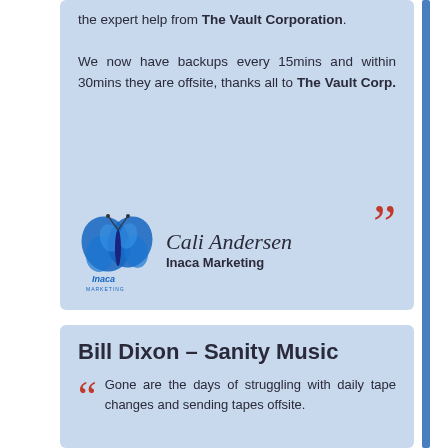the expert help from The Vault Corporation. We now have backups every 15mins and within 30mins they are offsite, thanks all to The Vault Corp.
[Figure (logo): Inaca Marketing butterfly logo with company name]
Cali Andersen
Inaca Marketing
Bill Dixon – Sanity Music
Gone are the days of struggling with daily tape changes and sending tapes offsite.